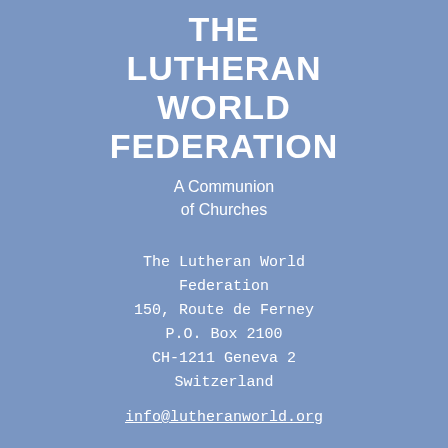THE LUTHERAN WORLD FEDERATION
A Communion of Churches
The Lutheran World Federation
150, Route de Ferney
P.O. Box 2100
CH-1211 Geneva 2
Switzerland
info@lutheranworld.org
[Figure (infographic): Row of four social media icons in white circles on blue background: Twitter, Vimeo, YouTube, Facebook]
[Figure (infographic): Row of four social media icons in white circles on blue background: Instagram, heart/like, person/profile, info/Pinterest]